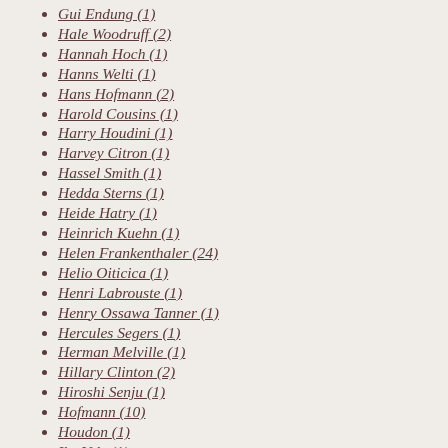Gui Endung (1)
Hale Woodruff (2)
Hannah Hoch (1)
Hanns Welti (1)
Hans Hofmann (2)
Harold Cousins (1)
Harry Houdini (1)
Harvey Citron (1)
Hassel Smith (1)
Hedda Sterns (1)
Heide Hatry (1)
Heinrich Kuehn (1)
Helen Frankenthaler (24)
Helio Oiticica (1)
Henri Labrouste (1)
Henry Ossawa Tanner (1)
Hercules Segers (1)
Herman Melville (1)
Hillary Clinton (2)
Hiroshi Senju (1)
Hofmann (10)
Houdon (1)
Ike Ude (1)
Ilya Bolotowsky (1)
Ingres (2)
Irene Monat Stern (1)